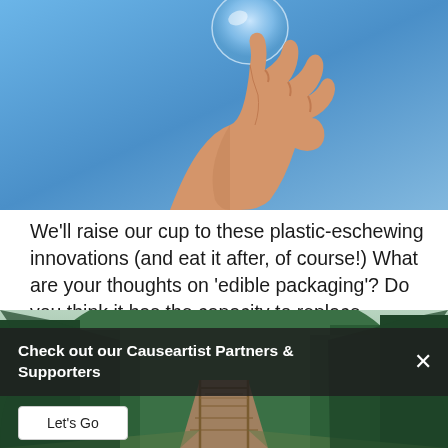[Figure (photo): A hand holding a small clear blue water bubble/orb against a bright blue sky background]
We'll raise our cup to these plastic-eschewing innovations (and eat it after, of course!) What are your thoughts on 'edible packaging'? Do you think it has the capacity to replace plastic? Have we missed any? We'd love to hear your thoughts.
To learn more about ethical food options check out
[Figure (photo): A wooden boardwalk/bridge path leading into a lush green forested area]
Check out our Causeartist Partners & Supporters
Let's Go